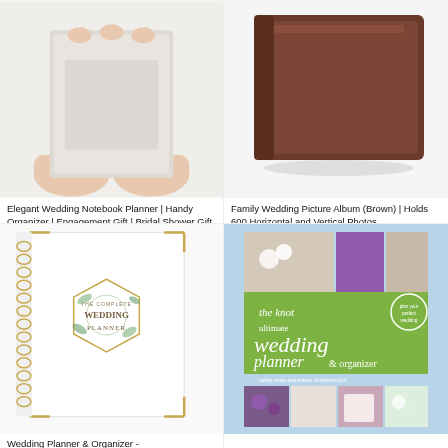[Figure (photo): Hands holding a small elegant wedding notebook planner with grey cover]
Elegant Wedding Notebook Planner | Handy Organizer | Engagement Gift | Bridal Shower Gift
$12.69
[Figure (photo): Brown leather family wedding picture album]
Family Wedding Picture Album (Brown) | Holds 600 Horizontal and Vertical Photos
$24.99
[Figure (photo): The Complete Wedding Planner spiral-bound book with floral geometric cover design]
Wedding Planner & Organizer -
[Figure (photo): The Knot Ultimate Wedding Planner & Organizer book with green cover and wedding photos]